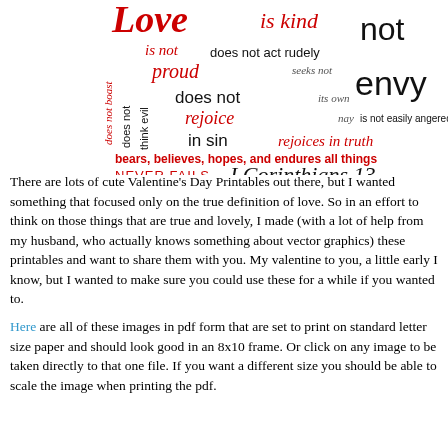[Figure (illustration): Word art illustration of 1 Corinthians 13 love attributes in various fonts, sizes, and red/black colors arranged in a typographic composition. Words include: Love, is kind, is not, does not act rudely, not, proud, seeks not, does not, its own, envy, does not boast, does not think evil, rejoice, nay, is not easily angered, in sin, rejoices in truth, bears believes hopes and endures all things, NEVER FAILS, I Corinthians 13]
There are lots of cute Valentine’s Day Printables out there, but I wanted something that focused only on the true definition of love. So in an effort to think on those things that are true and lovely, I made (with a lot of help from my husband, who actually knows something about vector graphics) these printables and want to share them with you. My valentine to you, a little early I know, but I wanted to make sure you could use these for a while if you wanted to.
Here are all of these images in pdf form that are set to print on standard letter size paper and should look good in an 8x10 frame. Or click on any image to be taken directly to that one file. If you want a different size you should be able to scale the image when printing the pdf.